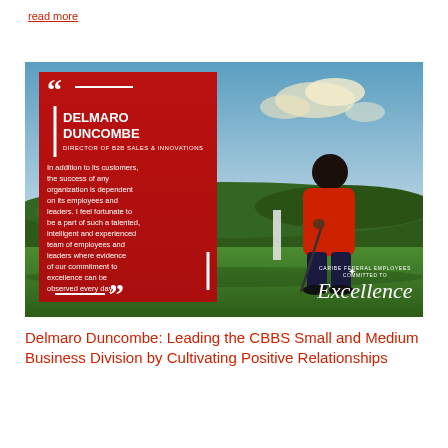read more
[Figure (photo): Promotional photo of Delmaro Duncombe, a man in a red polo shirt holding a golf club, standing on a golf course with blue sky and trees in background. A red quote box overlaid on the left contains a quote and his name and title. Bottom right shows a 'Committed to Excellence' logo in script.]
Delmaro Duncombe: Leading the CBBS Small and Medium Business Division by Cultivating Positive Relationships